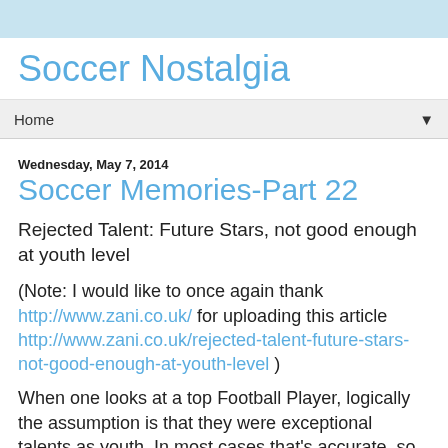Soccer Nostalgia
Home ▼
Wednesday, May 7, 2014
Soccer Memories-Part 22
Rejected Talent: Future Stars, not good enough at youth level
(Note: I would like to once again thank http://www.zani.co.uk/ for uploading this article http://www.zani.co.uk/rejected-talent-future-stars-not-good-enough-at-youth-level )
When one looks at a top Football Player, logically the assumption is that they were exceptional talents as youth. In most cases that's accurate, so one would